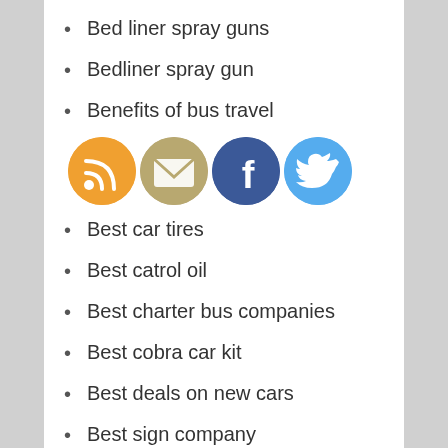Bed liner spray guns
Bedliner spray gun
Benefits of bus travel
[Figure (infographic): Four circular social media icons: RSS (orange), Email (tan/gold), Facebook (dark blue), Twitter (light blue)]
Best car tires
Best catrol oil
Best charter bus companies
Best cobra car kit
Best deals on new cars
Best sign company
Best toyota mechanic
Best used car dealers